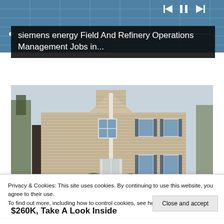[Figure (screenshot): Solar panels background with media playback controls (skip back, pause, skip forward) and a progress bar at the bottom]
siemens energy Field And Refinery Operations Management Jobs in...
[Figure (photo): A two-story beige/tan vinyl-sided residential house with trees in the foreground and background, white trim, dark shutters, and a covered entryway]
Privacy & Cookies: This site uses cookies. By continuing to use this website, you agree to their use.
To find out more, including how to control cookies, see here: Cookie Policy
Close and accept
$260K, Take A Look Inside